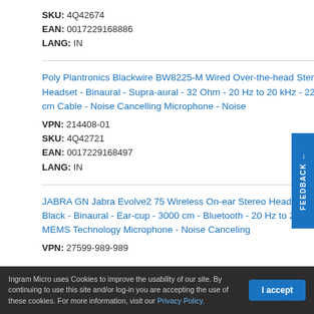SKU: 4Q42674
EAN: 0017229168886
LANG: IN
Poly Plantronics Blackwire BW8225-M Wired Over-the-head Stereo Headset - Binaural - Supra-aural - 32 Ohm - 20 Hz to 20 kHz - 220 cm Cable - Noise Cancelling Microphone - Noise
VPN: 214408-01
SKU: 4Q42721
EAN: 0017229168497
LANG: IN
JABRA GN Jabra Evolve2 75 Wireless On-ear Stereo Headset - Black - Binaural - Ear-cup - 3000 cm - Bluetooth - 20 Hz to 20 kHz - MEMS Technology Microphone - Noise Canceling
VPN: 27599-989-989
Ingram Micro uses Cookies to improve the usability of our site. By continuing to use this site and/or log-in you are accepting the use of these cookies. For more information, visit our Privacy Policy.